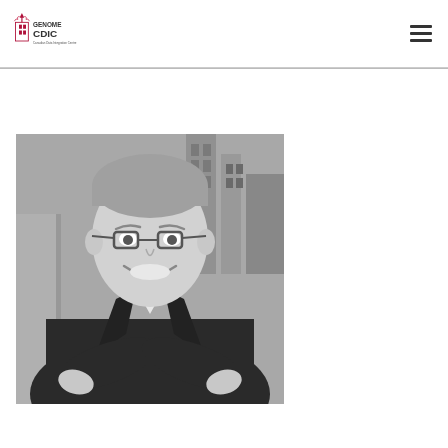Genome CDIC – Canadian Data Integration Centre
University of Toronto
[Figure (photo): Black and white portrait photo of Trevor Pugh, a man in a blazer with arms crossed, smiling, wearing glasses]
Trevor Pugh